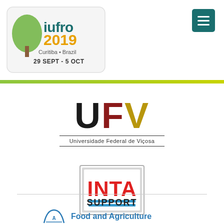[Figure (logo): IUFRO 2019 conference logo: Curitiba, Brazil, 29 Sept - 5 Oct with tree illustration]
[Figure (logo): UFV - Universidade Federal de Vicosa logo with large UFV letters in black, dark red, and gold]
[Figure (logo): INTA logo in red bold letters inside a grey-bordered square with blue horizontal lines beneath]
SUPPORT
[Figure (logo): FAO - Food and Agriculture (Organization) logo, partially visible at bottom]